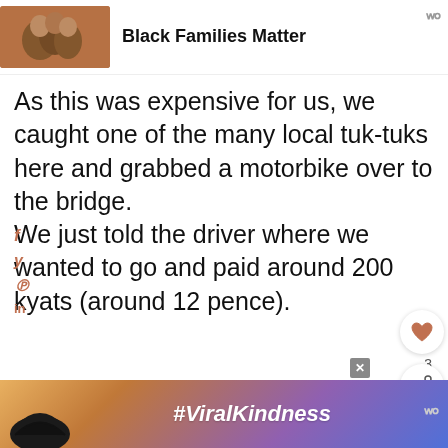[Figure (screenshot): Screenshot of a blog/article page showing a Facebook group header 'Black Families Matter' with a family photo thumbnail and Wattpad logo, followed by article text about tuk-tuks and motorbikes, social sharing icons, like/share buttons, a scenic sky image with 'What's Next' overlay, and a '#ViralKindness' advertisement at the bottom.]
Black Families Matter
As this was expensive for us, we caught one of the many local tuk-tuks here and grabbed a motorbike over to the bridge.
We just told the driver where we wanted to go and paid around 200 kyats (around 12 pence).
#ViralKindness